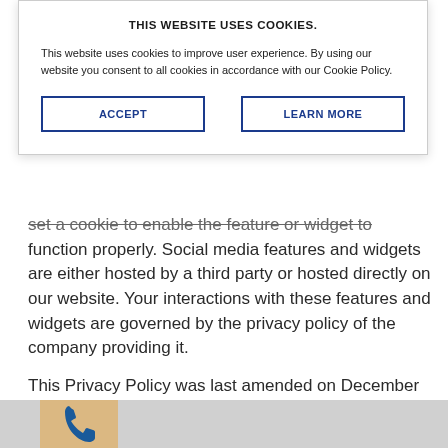THIS WEBSITE USES COOKIES.
This website uses cookies to improve user experience. By using our website you consent to all cookies in accordance with our Cookie Policy.
ACCEPT
LEARN MORE
set a cookie to enable the feature or widget to function properly. Social media features and widgets are either hosted by a third party or hosted directly on our website. Your interactions with these features and widgets are governed by the privacy policy of the company providing it.
This Privacy Policy was last amended on December 23, 2019.
[Figure (photo): Bottom section with grey background and phone icon image]